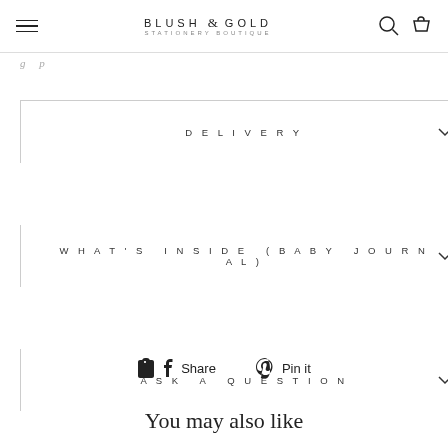BLUSH & GOLD stationery boutique
...partial page text (partially visible)
DELIVERY
WHAT'S INSIDE (BABY JOURNAL)
ASK A QUESTION
REVIEWS
Share  Pin it
You may also like